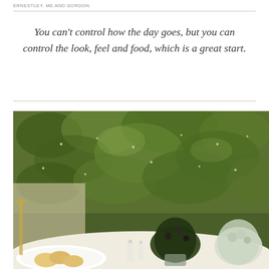ERNESTLEY. ME AND GORDON.
You can't control how the day goes, but you can control the look, feel and food, which is a great start.
[Figure (photo): A dining table set outdoors with bread rolls, small glass bottles of water, and lush floral centerpieces with dark green foliage and flowers. A dense green hedge/plant wall is visible in the background.]